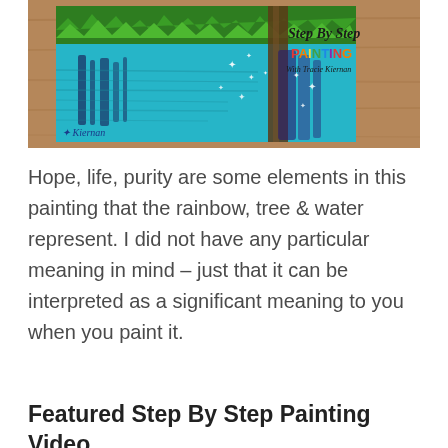[Figure (illustration): A painting on a wooden background showing a landscape with green grass/trees at the top, a turquoise water scene with dark reflections, white sparkle highlights, and a tree trunk. Text overlay reads 'Step By Step' in cursive black, 'PAINTING' in multicolor letters, 'With Tracie Kiernan'. A signature 'Kiernan' appears bottom left.]
Hope, life, purity are some elements in this painting that the rainbow, tree & water represent. I did not have any particular meaning in mind – just that it can be interpreted as a significant meaning to you when you paint it.
Featured Step By Step Painting Video